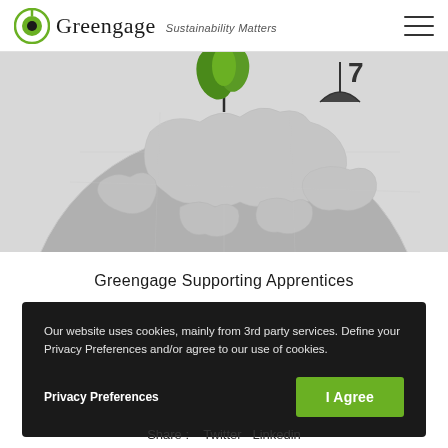Greengage — Sustainability Matters
[Figure (photo): Grayscale globe with green plant/tree on top, partially cropped — top portion of a decorative globe illustration]
Greengage Supporting Apprentices
Our website uses cookies, mainly from 3rd party services. Define your Privacy Preferences and/or agree to our use of cookies.
Privacy Preferences
I Agree
Share : Twitter Linkedin